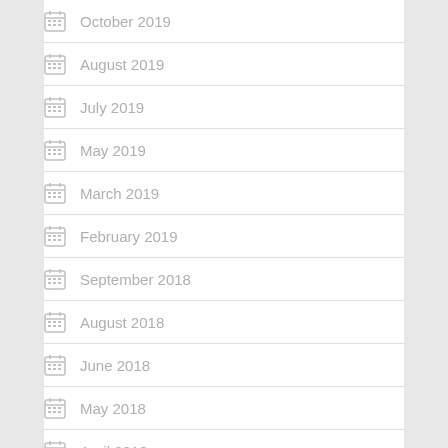October 2019
August 2019
July 2019
May 2019
March 2019
February 2019
September 2018
August 2018
June 2018
May 2018
April 2018
February 2018